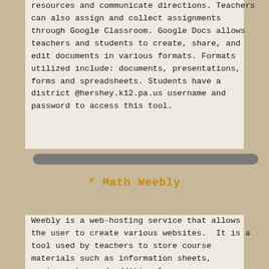resources and communicate directions. Teachers can also assign and collect assignments through Google Classroom. Google Docs allows teachers and students to create, share, and edit documents in various formats. Formats utilized include: documents, presentations, forms and spreadsheets. Students have a district @hershey.k12.pa.us username and password to access this tool.
* Math Weebly
Weebly is a web-hosting service that allows the user to create various websites.  It is a tool used by teachers to store course materials such as information sheets, assignments, and additional